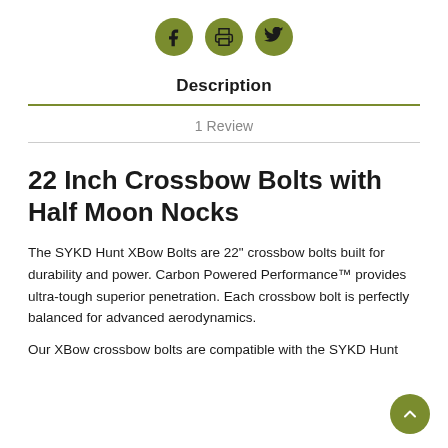[Figure (illustration): Three social/action icon circles (Facebook, Print, Twitter) in olive green color]
Description
1 Review
22 Inch Crossbow Bolts with Half Moon Nocks
The SYKD Hunt XBow Bolts are 22" crossbow bolts built for durability and power. Carbon Powered Performance™ provides ultra-tough superior penetration. Each crossbow bolt is perfectly balanced for advanced aerodynamics.
Our XBow crossbow bolts are compatible with the SYKD Hunt